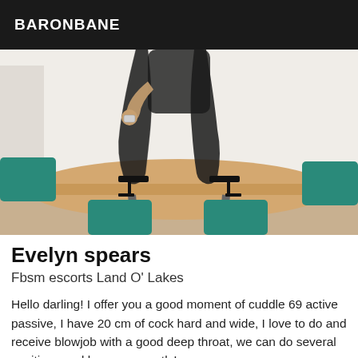BARONBANE
[Figure (photo): A person in black lingerie and fishnet stockings with high heels standing on a wooden dining table surrounded by teal chairs]
Evelyn spears
Fbsm escorts Land O' Lakes
Hello darling! I offer you a good moment of cuddle 69 active passive, I have 20 cm of cock hard and wide, I love to do and receive blowjob with a good deep throat, we can do several positions and love very gently!